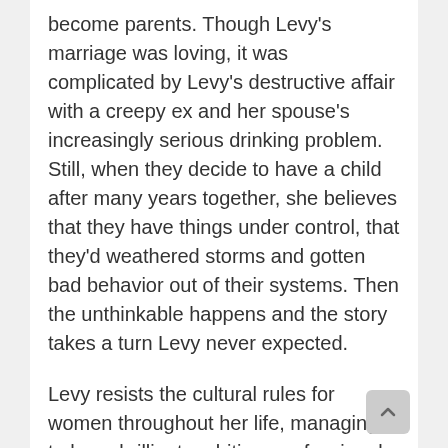become parents. Though Levy's marriage was loving, it was complicated by Levy's destructive affair with a creepy ex and her spouse's increasingly serious drinking problem. Still, when they decide to have a child after many years together, she believes that they have things under control, that they'd weathered storms and gotten bad behavior out of their systems. Then the unthinkable happens and the story takes a turn Levy never expected.
Levy resists the cultural rules for women throughout her life, managing to have brilliant ambition, professional success, lust, love, adventure and a rich domestic life. But those are only a superficial rejection of the “rules” that the title references. This memoir rejects tidy lessons, platitudes, and the idea that loss is avoidable. Often in stories like Levy’s, the unstated rule is that it all works out in the end, that there’s a silver lining,